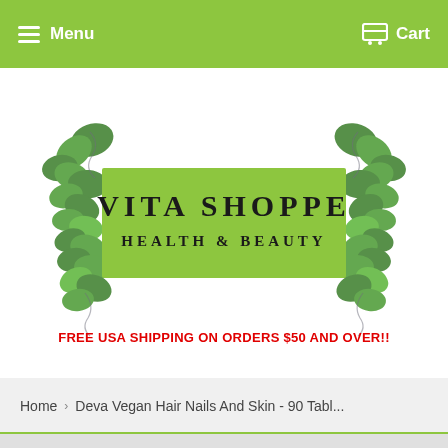Menu  Cart
[Figure (logo): Vita Shoppe Health & Beauty logo with green banner and ivy vine decorations]
FREE USA SHIPPING ON ORDERS $50 AND OVER!!
Home > Deva Vegan Hair Nails And Skin - 90 Tabl...